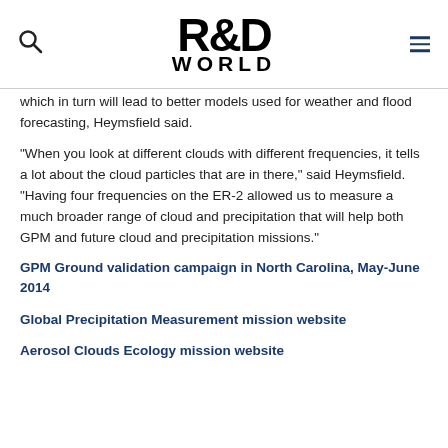R&D WORLD
which in turn will lead to better models used for weather and flood forecasting, Heymsfield said.
“When you look at different clouds with different frequencies, it tells a lot about the cloud particles that are in there,” said Heymsfield. “Having four frequencies on the ER-2 allowed us to measure a much broader range of cloud and precipitation that will help both GPM and future cloud and precipitation missions.”
GPM Ground validation campaign in North Carolina, May-June 2014
Global Precipitation Measurement mission website
Aerosol Clouds Ecology mission website